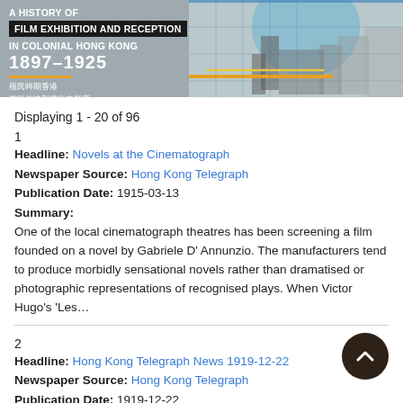[Figure (illustration): Book cover banner: 'A History of Film Exhibition and Reception in Colonial Hong Kong 1897-1925' with Chinese text and architectural imagery in grey/blue tones with orange and yellow accent lines]
Displaying 1 - 20 of 96
1
Headline: Novels at the Cinematograph
Newspaper Source: Hong Kong Telegraph
Publication Date: 1915-03-13
Summary:
One of the local cinematograph theatres has been screening a film founded on a novel by Gabriele D' Annunzio. The manufacturers tend to produce morbidly sensational novels rather than dramatised or photographic representations of recognised plays. When Victor Hugo's 'Les...
2
Headline: Hong Kong Telegraph News 1919-12-22
Newspaper Source: Hong Kong Telegraph
Publication Date: 1919-12-22